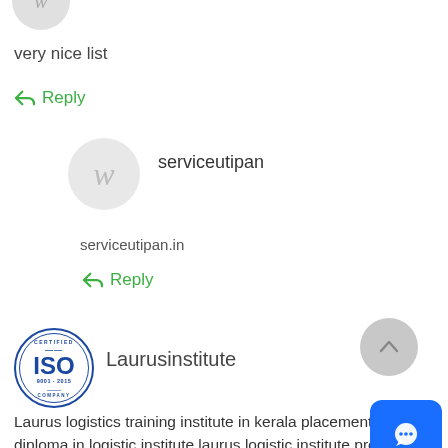[Figure (illustration): Small circular avatar with stylized italic 'w' letter in gray, partially visible at top]
very nice list
↩ Reply
[Figure (illustration): Medium circular avatar with stylized italic 'w' letter in gray]
serviceutipan
serviceutipan.in
↩ Reply
[Figure (logo): ISO 9001:2015 Certified Company circular blue badge logo]
Laurusinstitute
[Figure (illustration): Gray circular scroll-to-top button with upward chevron arrow]
Laurus logistics training institute in kerala placement o diploma in logistic institute laurus logistic institute provi best training in class with industry leading facility with
[Figure (illustration): Blue rounded square chat/message button with speech bubble icon]